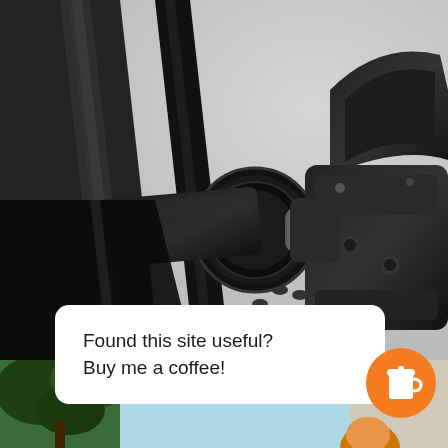[Figure (photo): Close-up photograph of a bicycle crank arm and clipless pedal system. The black crank arm connects to a metal spindle on the left, and a black two-platform road cycling pedal is shown on the right. A bicycle chain is visible below the crank. Background is light grey/white.]
Found this site useful?
Buy me a coffee!
[Figure (illustration): Orange circular button with a white coffee cup icon (takeaway cup with lid and steam hole).]
[Figure (photo): Partial view of a bottom strip showing trees and blue sky on the left, and the top of a person's head on the right side, outdoors.]